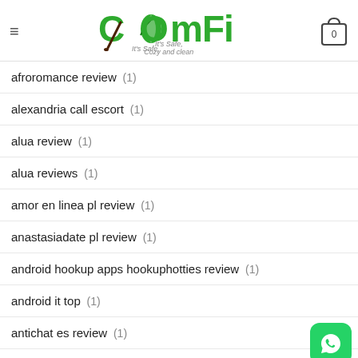COMFI It's Safe, Cozy and clean
afroromance review (1)
alexandria call escort (1)
alua review (1)
alua reviews (1)
amor en linea pl review (1)
anastasiadate pl review (1)
android hookup apps hookuphotties review (1)
android it top (1)
antichat es review (1)
AntiChat review (1)